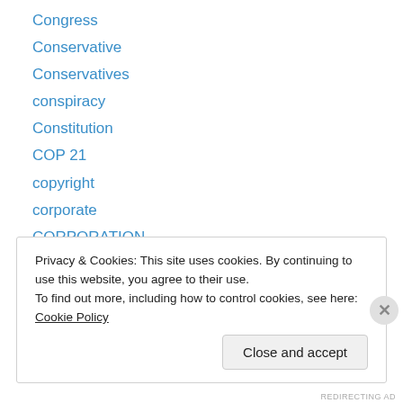Congress
Conservative
Conservatives
conspiracy
Constitution
COP 21
copyright
corporate
CORPORATION
corporations
corruption
Cosmic
Council on Foreign Relations
Privacy & Cookies: This site uses cookies. By continuing to use this website, you agree to their use.
To find out more, including how to control cookies, see here: Cookie Policy
Close and accept
REDIRECTING AD